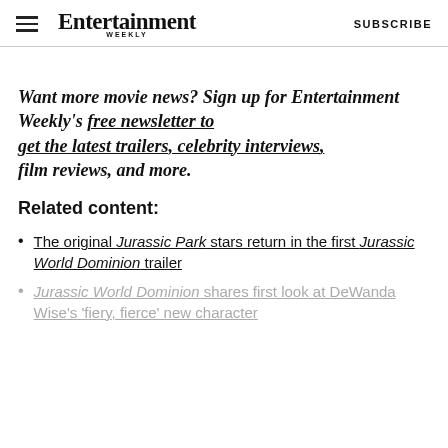Entertainment Weekly | SUBSCRIBE
Want more movie news? Sign up for Entertainment Weekly's free newsletter to get the latest trailers, celebrity interviews, film reviews, and more.
Related content:
The original Jurassic Park stars return in the first Jurassic World Dominion trailer
Jurassic World Dominion shares first look at DeWanda Wise's 'fiery, fierce' new character